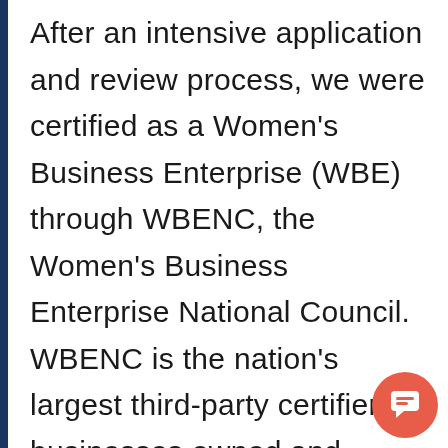After an intensive application and review process, we were certified as a Women's Business Enterprise (WBE) through WBENC, the Women's Business Enterprise National Council. WBENC is the nation's largest third-party certifier of businesses owned and operated by women in the US and a leading advocate for women business owners and entrepreneurs. We are proud to be part of a world-class network of